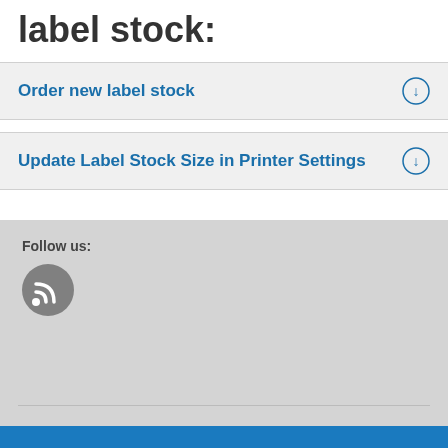label stock:
Order new label stock
Update Label Stock Size in Printer Settings
Follow us:
[Figure (illustration): RSS feed icon — dark gray circle with white RSS signal symbol]